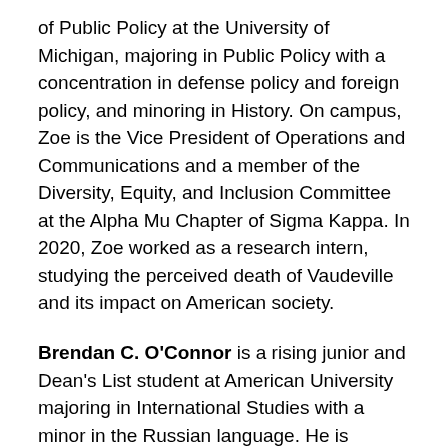of Public Policy at the University of Michigan, majoring in Public Policy with a concentration in defense policy and foreign policy, and minoring in History. On campus, Zoe is the Vice President of Operations and Communications and a member of the Diversity, Equity, and Inclusion Committee at the Alpha Mu Chapter of Sigma Kappa. In 2020, Zoe worked as a research intern, studying the perceived death of Vaudeville and its impact on American society.
Brendan C. O'Connor is a rising junior and Dean's List student at American University majoring in International Studies with a minor in the Russian language. He is proficient in Spanish, Greek, and Russian and passionate about diplomacy and conflict resolution. He is currently conducting a research project on factors of ongoing conflict in regard to the